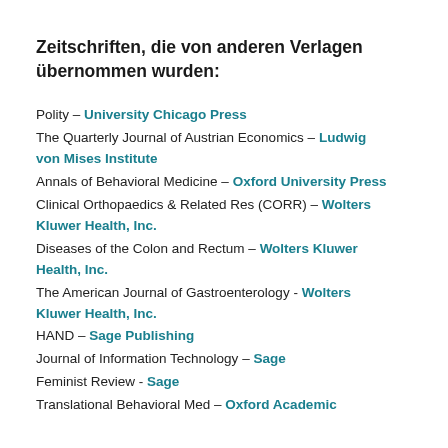Zeitschriften, die von anderen Verlagen übernommen wurden:
Polity – University Chicago Press
The Quarterly Journal of Austrian Economics – Ludwig von Mises Institute
Annals of Behavioral Medicine – Oxford University Press
Clinical Orthopaedics & Related Res (CORR) – Wolters Kluwer Health, Inc.
Diseases of the Colon and Rectum – Wolters Kluwer Health, Inc.
The American Journal of Gastroenterology - Wolters Kluwer Health, Inc.
HAND – Sage Publishing
Journal of Information Technology – Sage
Feminist Review - Sage
Translational Behavioral Med – Oxford Academic